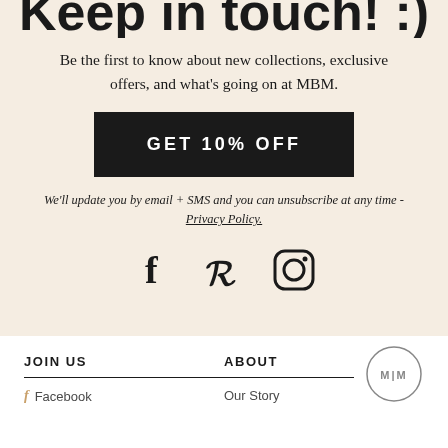Keep in touch! (cropped at top)
Be the first to know about new collections, exclusive offers, and what's going on at MBM.
GET 10% OFF
We'll update you by email + SMS and you can unsubscribe at any time - Privacy Policy.
[Figure (illustration): Social media icons: Facebook (f), Pinterest (P), Instagram (camera/circle logo)]
JOIN US
ABOUT
Facebook
Our Story
[Figure (logo): M|M circular logo in bottom right]